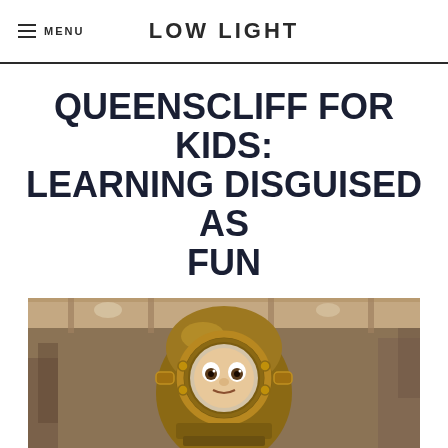MENU | LOW LIGHT
QUEENSCLIFF FOR KIDS: LEARNING DISGUISED AS FUN
[Figure (photo): Child looking through the porthole of an old brass diving helmet in what appears to be a maritime museum or warehouse setting. The child's face is visible through the circular glass opening, looking surprised or excited. Warm brown/amber tones dominate the image.]